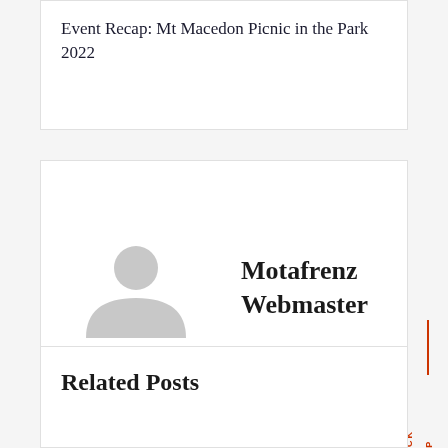Event Recap: Mt Macedon Picnic in the Park 2022
[Figure (illustration): Author avatar showing a generic grey silhouette person icon (circle head and shoulder shape) on white background]
Motafrenz Webmaster
Related Posts